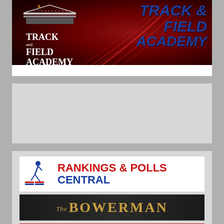[Figure (logo): Track and Field Academy banner logo with dark red/maroon background, racing track swirl lines, building/coliseum icon on the left with white text 'TRACK AND FIELD ACADEMY', and large blue italic bold text 'TRACK & FIELD ACADEMY' on the right]
[Figure (other): Empty gray banner/advertisement placeholder]
[Figure (logo): Rankings & Polls Central logo with runner icon and US flag colors, red text 'RANKINGS & POLLS' and blue text 'CENTRAL']
[Figure (logo): The Bowerman award logo on black background with gold text 'THE BOWERMAN']
[Figure (logo): TFRRS (Track & Field Results Reporting System) partial logo with blue italic text and red stripes, partially cut off at bottom]